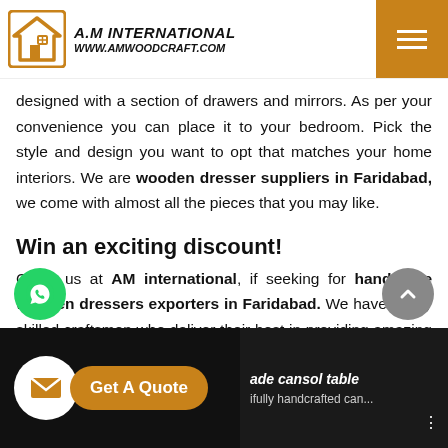A.M International www.amwoodcraft.com
designed with a section of drawers and mirrors. As per your convenience you can place it to your bedroom. Pick the style and design you want to opt that matches your home interiors. We are wooden dresser suppliers in Faridabad, we come with almost all the pieces that you may like.
Win an exciting discount!
Catch us at AM international, if seeking for handmade wooden dressers exporters in Faridabad. We have highly skilled craftsmen who deliver their best in providing amazing range. Give your bedroom an aesthetic appeal with these. Don't think much about the prices. You can acquire a good discount on purchase.
[Figure (screenshot): WhatsApp chat button (green circle with phone icon) on left side of screen]
[Figure (screenshot): Scroll-up button (grey circle with up arrow) on right side of screen]
[Figure (screenshot): Bottom bar with Get A Quote button (envelope icon + orange pill button) and video thumbnail showing handmade console table]